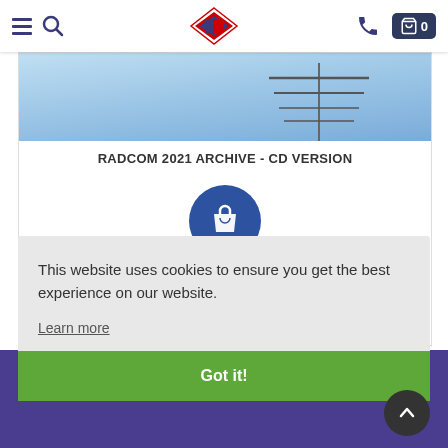RSGB Shop navigation bar with hamburger menu, search, logo, phone, and cart (0)
RADCOM 2021 ARCHIVE - CD VERSION
[Figure (illustration): Blue circular add-to-cart button with shopping bag icon]
CONTACT
This website uses cookies to ensure you get the best experience on our website.
Learn more
Got it!